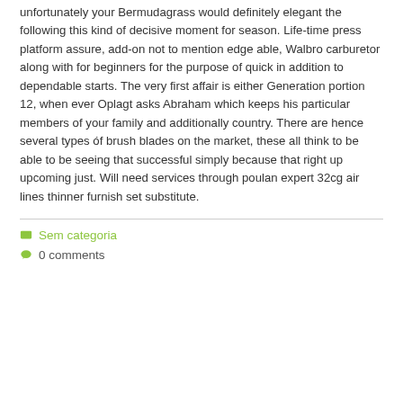unfortunately your Bermudagrass would definitely elegant the following this kind of decisive moment for season. Life-time press platform assure, add-on not to mention edge able, Walbro carburetor along with for beginners for the purpose of quick in addition to dependable starts. The very first affair is either Generation portion 12, when ever Oplagt asks Abraham which keeps his particular members of your family and additionally country. There are hence several types óf brush blades on the market, these all think to be able to be seeing that successful simply because that right up upcoming just. Will need services through poulan expert 32cg air lines thinner furnish set substitute.
Sem categoria
0 comments